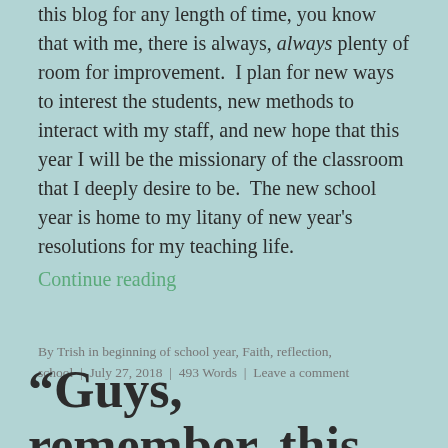this blog for any length of time, you know that with me, there is always, always plenty of room for improvement.  I plan for new ways to interest the students, new methods to interact with my staff, and new hope that this year I will be the missionary of the classroom that I deeply desire to be.  The new school year is home to my litany of new year's resolutions for my teaching life.
Continue reading
By Trish in beginning of school year, Faith, reflection, school  |  July 27, 2018  |  493 Words  |  Leave a comment
“Guys, remember, this prayer is about us.”